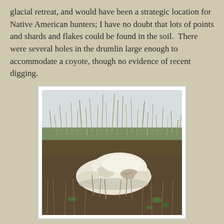glacial retreat, and would have been a strategic location for Native American hunters; I have no doubt that lots of points and shards and flakes could be found in the soil.  There were several holes in the drumlin large enough to accommodate a coyote, though no evidence of recent digging.
[Figure (photo): A white bleached animal skull lying on dry grass and sparse green vegetation in a flat open field. The sky is overcast/white in the background.]
The skull was picked clean and sunbleached; I don't know the species.  An elderly lady who joined us for the field trip suggested it was probably from a deer.